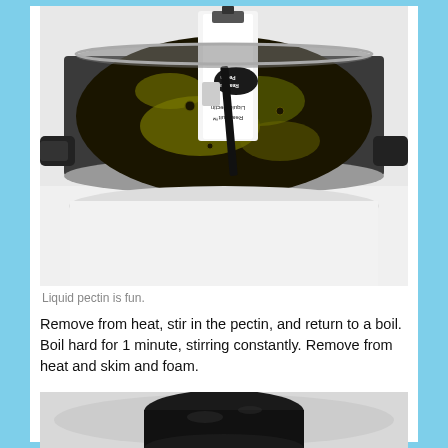[Figure (photo): A cooking pot on a white stove with dark boiling liquid (blackcurrant jam or similar) and a package of Ball RealFruit Liquid Pectin being stirred in, viewed from above.]
Liquid pectin is fun.
Remove from heat, stir in the pectin, and return to a boil. Boil hard for 1 minute, stirring constantly. Remove from heat and skim and foam.
[Figure (photo): Bottom portion of a dark jar or bowl with dark jam/liquid visible on a white surface.]